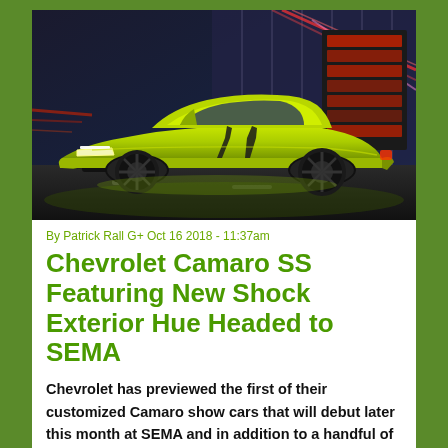[Figure (photo): A lime green / yellow-green Chevrolet Camaro SS sports car driving at night with colorful blurred lights in the background]
By Patrick Rall G+ Oct 16 2018 - 11:37am
Chevrolet Camaro SS Featuring New Shock Exterior Hue Headed to SEMA
Chevrolet has previewed the first of their customized Camaro show cars that will debut later this month at SEMA and in addition to a handful of components from the brand's accessory catalog, this car introduces the world to the new “Shock”